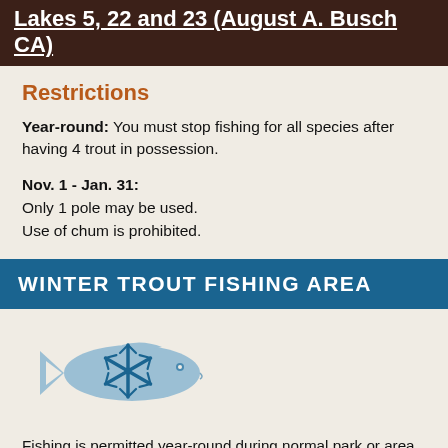Lakes 5, 22 and 23 (August A. Busch CA)
Restrictions
Year-round: You must stop fishing for all species after having 4 trout in possession.
Nov. 1 - Jan. 31:
Only 1 pole may be used.
Use of chum is prohibited.
WINTER TROUT FISHING AREA
[Figure (illustration): Blue fish silhouette with a blue snowflake icon overlaid in the center, representing a winter trout fishing area symbol.]
Fishing is permitted year-round during normal park or area hours. Unless indicated in the area rules, trout may be taken by pole and line using all types of lures and baits under statewide limits. A trout permit